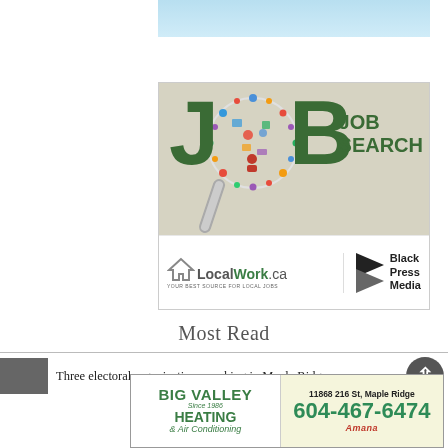[Figure (illustration): Top banner strip with light blue gradient background]
[Figure (illustration): Job Search advertisement featuring large JOB text in dark green with magnifying glass icon made of colorful social/work icons, LocalWork.ca and Black Press Media logos at bottom. Text reads: JOB SEARCH, LocalWork.ca, YOUR BEST SOURCE FOR LOCAL JOBS, Black Press Media]
Most Read
Three electoral organizations working in Maple Ridge
[Figure (illustration): Big Valley Heating & Air Conditioning advertisement with address 11868 216 St, Maple Ridge and phone 604-467-6474, Amana brand logo]